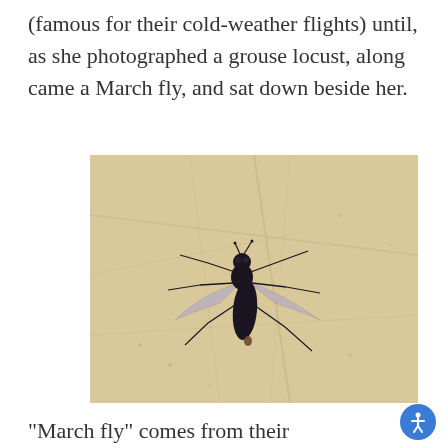(famous for their cold-weather flights) until, as she photographed a grouse locust, along came a March fly, and sat down beside her.
[Figure (photo): A close-up photograph of a dark/black March fly resting on a pale tan dried leaf. The fly has a round head, slender body, translucent wings spread to the sides, and long thin legs extending in multiple directions.]
"March fly" comes from their predominantly